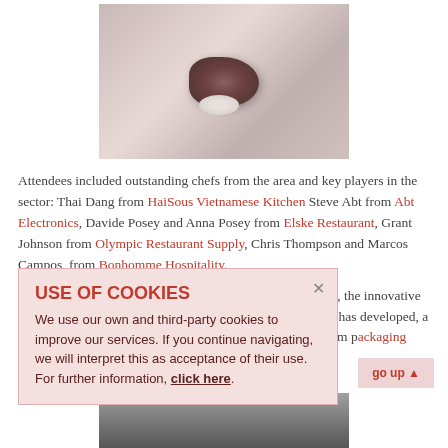[Figure (photo): Photo of a plated food dish on a white plate, shot from above, showing a small composed dish with dark meat/protein and white elements.]
Attendees included outstanding chefs from the area and key players in the sector: Thai Dang from HaiSous Vietnamese Kitchen Steve Abt from Abt Electronics, Davide Posey and Anna Posey from Elske Restaurant, Grant Johnson from Olympic Restaurant Supply, Chris Thompson and Marcos Campos, from Bonhomme Hospitality.
A live demonstration was presented of the SmartVideTrack, the innovative bag-to-bag cooking time management system that Sammic has developed, a cutting-edge innovation offered by the SmartVide brand in a combination with Sammic's SU vacuum packaging machine. Attendees also got a chance to see the new XM-1...
USE OF COOKIES
We use our own and third-party cookies to improve our services. If you continue navigating, we will interpret this as acceptance of their use. For further information, click here.
[Figure (photo): Partial photo at bottom of page showing people at an event, dark tones.]